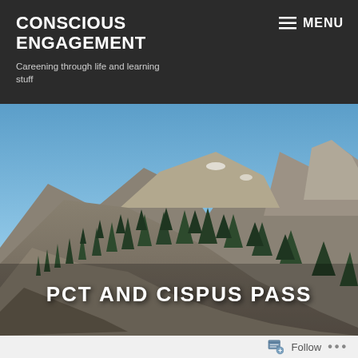CONSCIOUS ENGAGEMENT
Careening through life and learning stuff
MENU
[Figure (photo): Mountain landscape with rocky peaks, evergreen trees on a hillside, and a blue sky. A steep rocky slope with scattered conifers leads up to bare mountain peaks with a hint of snow.]
PCT AND CISPUS PASS
Follow ...